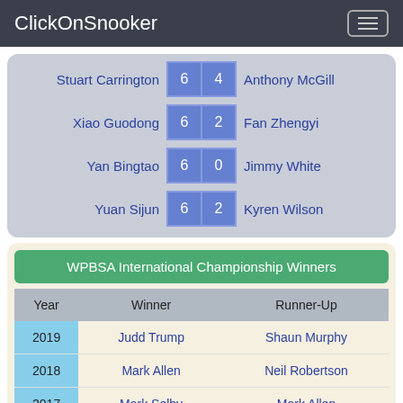ClickOnSnooker
| Player 1 | Score 1 | Score 2 | Player 2 |
| --- | --- | --- | --- |
| Stuart Carrington | 6 | 4 | Anthony McGill |
| Xiao Guodong | 6 | 2 | Fan Zhengyi |
| Yan Bingtao | 6 | 0 | Jimmy White |
| Yuan Sijun | 6 | 2 | Kyren Wilson |
WPBSA International Championship Winners
| Year | Winner | Runner-Up |
| --- | --- | --- |
| 2019 | Judd Trump | Shaun Murphy |
| 2018 | Mark Allen | Neil Robertson |
| 2017 | Mark Selby | Mark Allen |
| 2016 | Mark Selby | Ding Junhui |
| 2015 | John Higgins | David Gilbert |